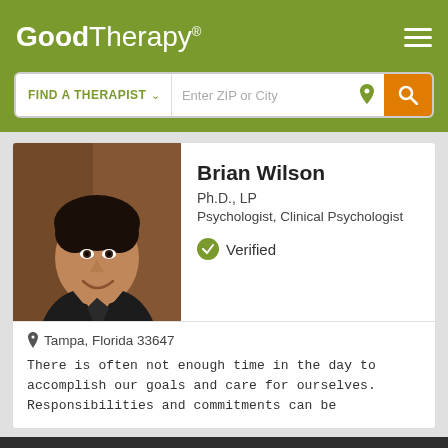GoodTherapy®
FIND A THERAPIST  ∨  Enter ZIP or City
[Figure (photo): Professional headshot of Brian Wilson, a man with dark hair wearing a dark jacket, smiling against a warm brown background]
Brian Wilson
Ph.D., LP
Psychologist, Clinical Psychologist
✓ Verified
Tampa, Florida 33647
There is often not enough time in the day to accomplish our goals and care for ourselves. Responsibilities and commitments can be
GoodTherapy uses cookies to personalize content and ads to provide better services for our users and to analyze our traffic. By continuing to use this site you consent to our cookies.